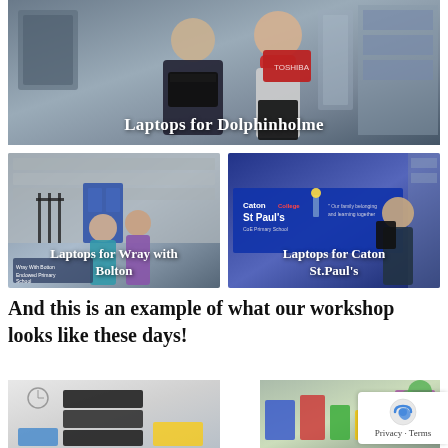[Figure (photo): Two people standing indoors, one holding a red Toshiba laptop and a black crate, with caption 'Laptops for Dolphinholme']
[Figure (photo): Two people standing outside a stone building with blue door, caption 'Laptops for Wray with Bolton']
[Figure (photo): Person standing in front of Caton St Paul's CoE Primary School banner, caption 'Laptops for Caton St.Paul's']
And this is an example of what our workshop looks like these days!
[Figure (photo): Workshop interior showing stacked computer equipment]
[Figure (photo): Workshop interior showing various electronic items and equipment]